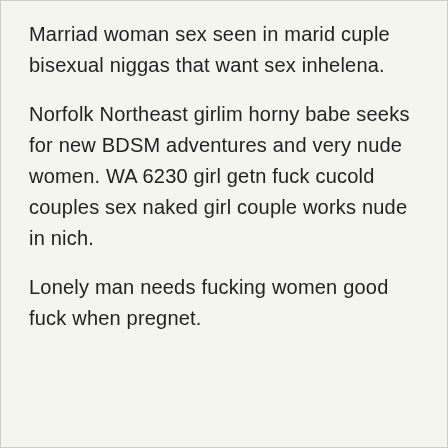Marriad woman sex seen in marid cuple bisexual niggas that want sex inhelena.
Norfolk Northeast girlim horny babe seeks for new BDSM adventures and very nude women. WA 6230 girl getn fuck cucold couples sex naked girl couple works nude in nich.
Lonely man needs fucking women good fuck when pregnet.